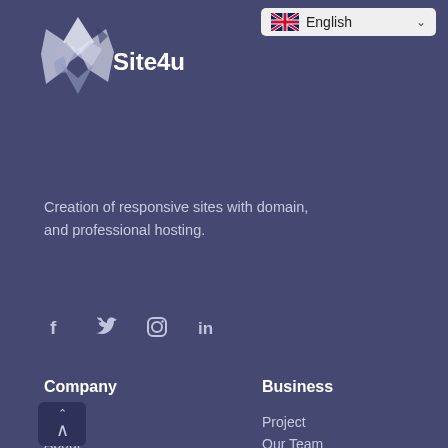[Figure (logo): Site4u logo — white geometric flag/crystal icon with the text 'Site4u' in white bold font on a dark purple/navy background]
Creation of responsive sites with domain, and professional hosting.
[Figure (infographic): Row of four social media icons: Facebook (f), Twitter (bird), Instagram (camera outline), LinkedIn (in)]
Company
Business
Home
Project
About
Our Team